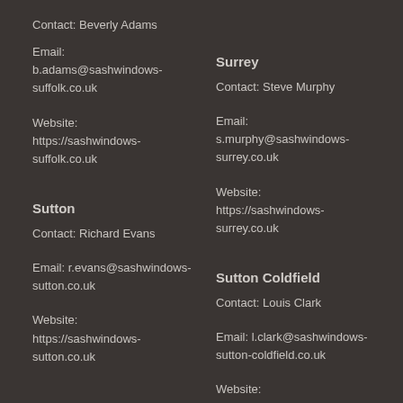Contact: Beverly Adams
Email: b.adams@sashwindows-suffolk.co.uk
Website: https://sashwindows-suffolk.co.uk
Surrey
Contact: Steve Murphy
Email: s.murphy@sashwindows-surrey.co.uk
Website: https://sashwindows-surrey.co.uk
Sutton
Contact: Richard Evans
Email: r.evans@sashwindows-sutton.co.uk
Website: https://sashwindows-sutton.co.uk
Sutton Coldfield
Contact: Louis Clark
Email: l.clark@sashwindows-sutton-coldfield.co.uk
Website: